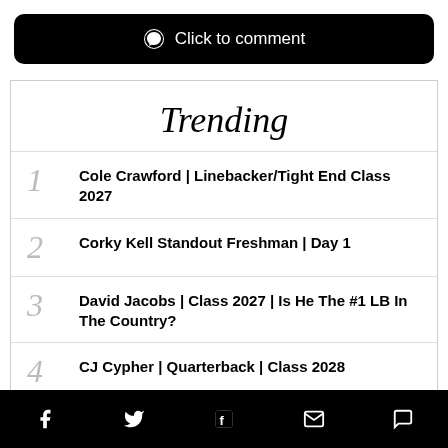Click to comment
Trending
1 Cole Crawford | Linebacker/Tight End Class 2027
2 Corky Kell Standout Freshman | Day 1
3 David Jacobs | Class 2027 | Is He The #1 LB In The Country?
4 CJ Cypher | Quarterback | Class 2028
Social share icons: Facebook, Twitter, Flipboard, Email, Comment